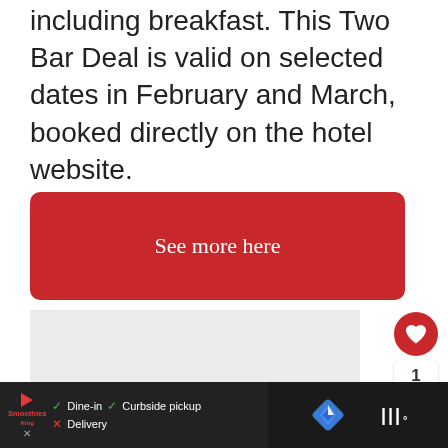including breakfast. This Two Bar Deal is valid on selected dates in February and March, booked directly on the hotel website.
See more here
[Figure (screenshot): Red CTA button labeled 'See more here' followed by a grey content area with social media interaction buttons (heart/like, share) and a 'What's Next' panel showing 'The Travel Expert's Bes...']
[Figure (screenshot): Bottom advertisement bar with Smoothie King logo, dine-in/curbside pickup/delivery info, a navigation icon, and a Wren logo on dark background]